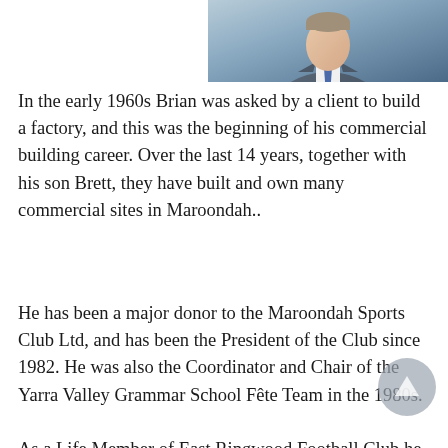[Figure (photo): Portrait photo of a man in a suit and tie, positioned in the top-right corner]
In the early 1960s Brian was asked by a client to build a factory, and this was the beginning of his commercial building career. Over the last 14 years, together with his son Brett, they have built and own many commercial sites in Maroondah..
He has been a major donor to the Maroondah Sports Club Ltd, and has been the President of the Club since 1982. He was also the Coordinator and Chair of the Yarra Valley Grammar School Fête Team in the 1980s.
As a Life Member of East Ringwood Football Club he has served in various roles since 1959 as a player, committee member, President, Vice President, Recruiting Manager and major fundraiser. He is also a Life Member of the Eastern District Football League. A former member of the Maroondah Business Advisory Board, Brian's contributions are invaluable resources for the